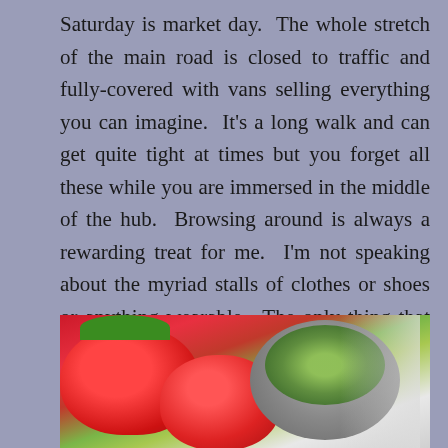Saturday is market day.  The whole stretch of the main road is closed to traffic and fully-covered with vans selling everything you can imagine.  It's a long walk and can get quite tight at times but you forget all these while you are immersed in the middle of the hub.  Browsing around is always a rewarding treat for me.  I'm not speaking about the myriad stalls of clothes or shoes or anything wearable.  The only thing that rivets my attention is the rows of fruits, vegetables, hams, cheeses, bread & herbal plants.  I am referring to the edible part.
[Figure (photo): Close-up photo of fresh red strawberries on the left and a bowl with chopped green salad/vegetables on the right, on a light background.]